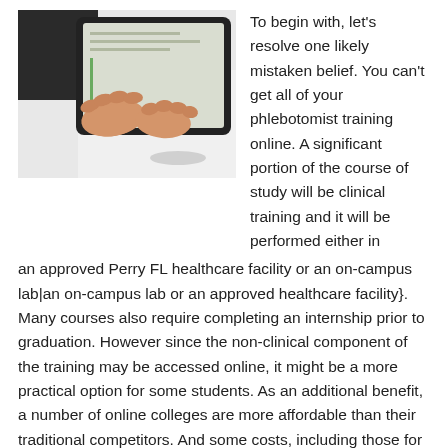[Figure (photo): Person's hands typing on a white tablet or touchpad device, with a laptop screen visible in the background, on a white desk surface.]
To begin with, let's resolve one likely mistaken belief. You can't get all of your phlebotomist training online. A significant portion of the course of study will be clinical training and it will be performed either in an approved Perry FL healthcare facility or an on-campus lab|an on-campus lab or an approved healthcare facility}. Many courses also require completing an internship prior to graduation. However since the non-clinical component of the training may be accessed online, it might be a more practical option for some students. As an additional benefit, a number of online colleges are more affordable than their traditional competitors. And some costs, including those for textbooks or commuting, may be lessened also. Just confirm that the online phlebotomist program you enroll in is accredited by a